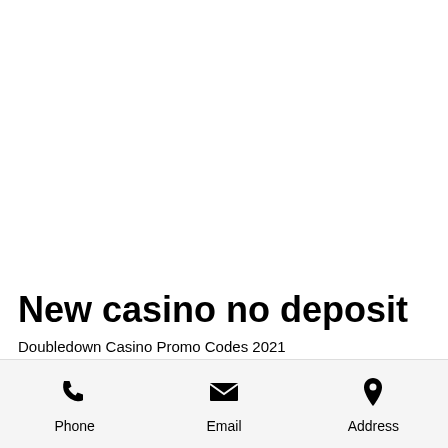New casino no deposit
Doubledown Casino Promo Codes 2021
Online casino bonus: where to find them.
Leelanau Sands Casino Review: Casino
Phone  Email  Address